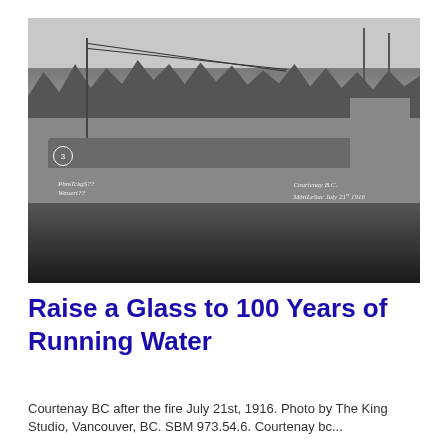[Figure (photo): Black and white historical photograph of Courtenay BC after the fire on July 21st, 1916. Shows a landscape with telegraph poles, wires, trees in background, rubble and cleared ground in the middle, buildings on the right, and dark water or burned ground in the foreground. Handwritten text on photo reads: left side - 'PbmTckgS??' and right side - 'Courtenay B.C. MàttLeSuc July 21st 1916'. A circled number 3 appears in the lower left of the photo.]
Raise a Glass to 100 Years of Running Water
Courtenay BC after the fire July 21st, 1916. Photo by The King Studio, Vancouver, BC. SBM 973.54.6. Courtenay bc...